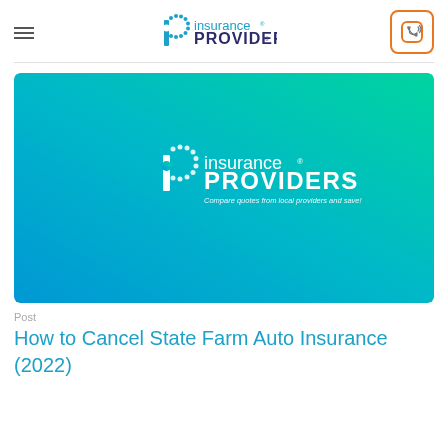Insurance Providers
[Figure (logo): Insurance Providers logo on blue-to-green gradient background with text: Compare quotes from local providers and save!]
Post
How to Cancel State Farm Auto Insurance (2022)